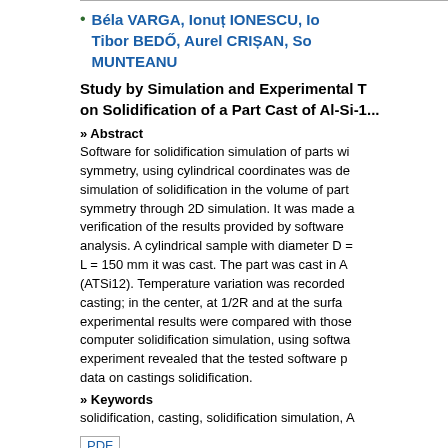Béla VARGA, Ionuț IONESCU, Ic..., Tibor BEDŐ, Aurel CRIȘAN, So... MUNTEANU
Study by Simulation and Experimental T... on Solidification of a Part Cast of Al-Si-1...
» Abstract
Software for solidification simulation of parts wi... symmetry, using cylindrical coordinates was de... simulation of solidification in the volume of part... symmetry through 2D simulation. It was made a... verification of the results provided by software ... analysis. A cylindrical sample with diameter D = ... L = 150 mm it was cast. The part was cast in A (ATSi12). Temperature variation was recorded ... casting; in the center, at 1/2R and at the surfa... experimental results were compared with those ... computer solidification simulation, using softwa... experiment revealed that the tested software p... data on castings solidification.
» Keywords
solidification, casting, solidification simulation, A...
PDF
[ Home ] [ Up ] [ For Authors ] [ Peer Review ] [ ... ] [ Site Contents ] [ Recent Journal-Search ]